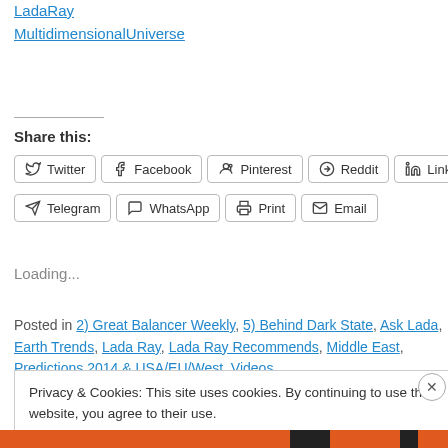LadaRay MultidimensionalUniverse
Share this:
[Figure (other): Share buttons row 1: Twitter, Facebook, Pinterest, Reddit, LinkedIn (partial)]
[Figure (other): Share buttons row 2: Telegram, WhatsApp, Print, Email]
Loading...
Posted in 2) Great Balancer Weekly, 5) Behind Dark State, Ask Lada, Earth Trends, Lada Ray, Lada Ray Recommends, Middle East, Predictions 2014 & USA/EU/West, Videos
Privacy & Cookies: This site uses cookies. By continuing to use this website, you agree to their use.
To find out more, including how to control cookies, see here: Cookie Policy
Close and accept